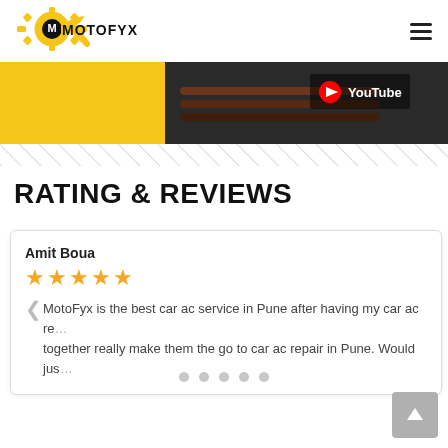[Figure (logo): MotoFyx logo — gear with wrench icon in yellow/black, text MOTOFYX]
[Figure (screenshot): Website header banner showing car grille and YouTube overlay, with yellow bar on left]
[Figure (other): Diagonal stripe pattern divider]
RATING & REVIEWS
Amit Boua — 5 stars — MotoFyx is the best car ac service in Pune after having my car ac re... together really make them the go to car ac repair in Pune. Would jus...